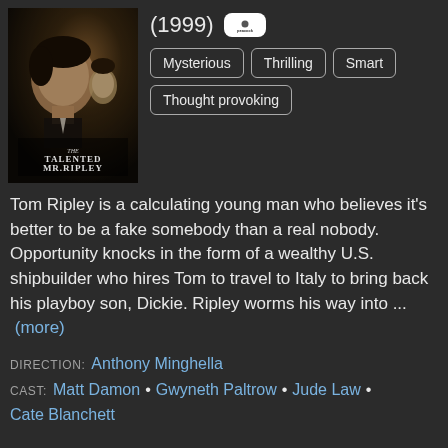[Figure (photo): Movie poster for The Talented Mr. Ripley showing dark-toned close-up of a young man's face with two figures in background and title text]
(1999)
Mysterious
Thrilling
Smart
Thought provoking
Tom Ripley is a calculating young man who believes it's better to be a fake somebody than a real nobody. Opportunity knocks in the form of a wealthy U.S. shipbuilder who hires Tom to travel to Italy to bring back his playboy son, Dickie. Ripley worms his way into ... (more)
DIRECTION: Anthony Minghella
CAST: Matt Damon • Gwyneth Paltrow • Jude Law • Cate Blanchett